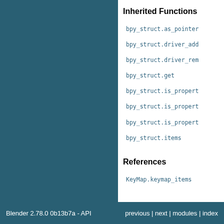Inherited Functions
bpy_struct.as_pointer
bpy_struct.driver_add
bpy_struct.driver_rem
bpy_struct.get
bpy_struct.is_propert
bpy_struct.is_propert
bpy_struct.is_propert
bpy_struct.items
References
KeyMap.keymap_items
Blender 2.78.0 0b13b7a - API   previous | next | modules | index